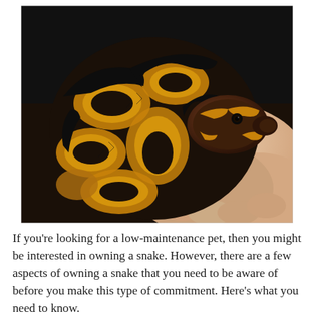[Figure (photo): Close-up photograph of a ball python snake with black and yellow/orange patterned scales, coiled and resting on a human hand against a dark background.]
If you're looking for a low-maintenance pet, then you might be interested in owning a snake. However, there are a few aspects of owning a snake that you need to be aware of before you make this type of commitment. Here's what you need to know.